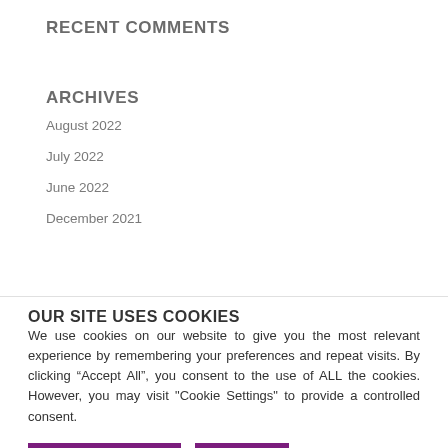RECENT COMMENTS
ARCHIVES
August 2022
July 2022
June 2022
December 2021
OUR SITE USES COOKIES
We use cookies on our website to give you the most relevant experience by remembering your preferences and repeat visits. By clicking “Accept All”, you consent to the use of ALL the cookies. However, you may visit "Cookie Settings" to provide a controlled consent.
Cookie Preferences
Accept All